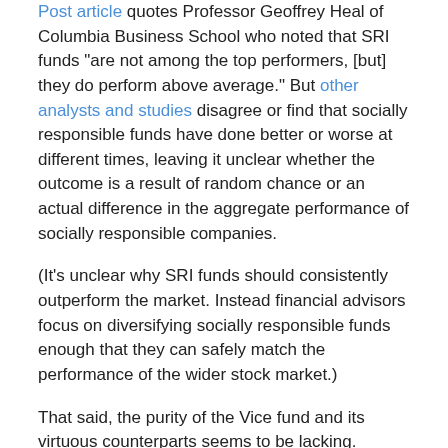Post article quotes Professor Geoffrey Heal of Columbia Business School who noted that SRI funds "are not among the top performers, [but] they do perform above average." But other analysts and studies disagree or find that socially responsible funds have done better or worse at different times, leaving it unclear whether the outcome is a result of random chance or an actual difference in the aggregate performance of socially responsible companies.
(It's unclear why SRI funds should consistently outperform the market. Instead financial advisors focus on diversifying socially responsible funds enough that they can safely match the performance of the wider stock market.)
That said, the purity of the Vice fund and its virtuous counterparts seems to be lacking. Salon's look at the portfolio of the Catholic Values Fund revealed that it shared investments in defense contractors with the Vice Fund. At the same time, the Vice Fund's investments in Berkshire Hathaway and Microsoft don't seem particularly evil. And as Investing In Vice points out, Anheuser-Busch, maker of Budweiser, is a staple sin stock, yet it is also a top recycler. Dividing the market into saints and sinners seems to be a difficult task.
The Vice Fund also...